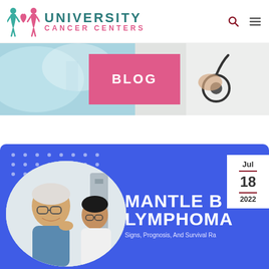[Figure (logo): University Cancer Centers logo with teal/pink icon and teal UNIVERSITY text, pink CANCER CENTERS text]
[Figure (photo): Hero banner with blurred hospital background, pink BLOG box overlay, and doctor holding stethoscope on right]
[Figure (photo): Article card with blue background, circular photo of elderly patient with doctor, date badge showing Jul 18 2022, title MANTLE CELL LYMPHOMA, subtitle Signs Prognosis And Survival Rate]